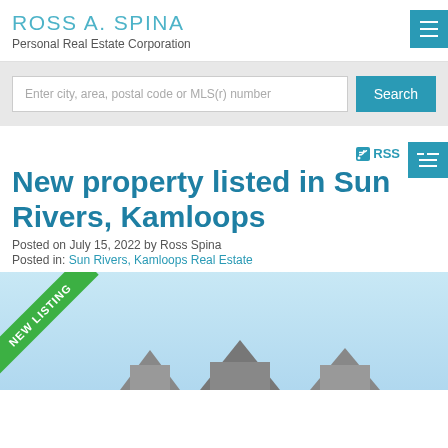ROSS A. SPINA Personal Real Estate Corporation
Enter city, area, postal code or MLS(r) number
RSS
New property listed in Sun Rivers, Kamloops
Posted on July 15, 2022 by Ross Spina
Posted in: Sun Rivers, Kamloops Real Estate
[Figure (photo): Property listing photo with NEW LISTING ribbon banner in green, showing rooftops against a light blue sky]